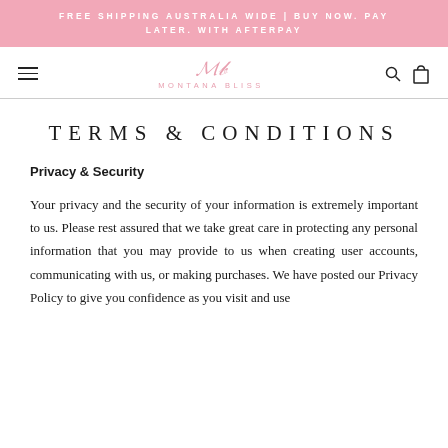FREE SHIPPING AUSTRALIA WIDE | BUY NOW. PAY LATER. WITH AFTERPAY
MB MONTANA BLISS
TERMS & CONDITIONS
Privacy & Security
Your privacy and the security of your information is extremely important to us. Please rest assured that we take great care in protecting any personal information that you may provide to us when creating user accounts, communicating with us, or making purchases. We have posted our Privacy Policy to give you confidence as you visit and use